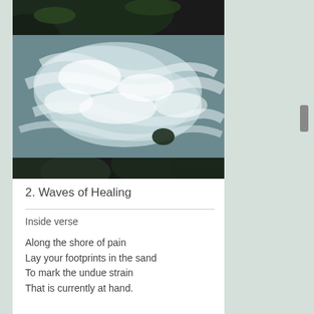[Figure (photo): Aerial or close-up view of rushing white water rapids over dark rocks]
2. Waves of Healing
Inside verse
Along the shore of pain
Lay your footprints in the sand
To mark the undue strain
That is currently at hand.

Although strong winds are in full force,
And a storm is passing through,